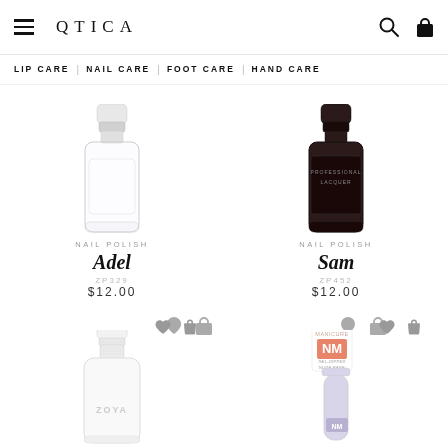QTICA — LIP CARE | NAIL CARE | FOOT CARE | HAND CARE
[Figure (photo): Nail polish bottle - clear/transparent - Zoya Adel]
NAIL POLISH
Adel
ZP329
$12.00
[Figure (photo): Nail polish bottle - dark label Professional Lacquer - Zoya Sam]
NAIL POLISH
Sam
ZP452
$12.00
[Figure (photo): Zoya white nail polish bottle]
[Figure (photo): Naked Manicure NM product bottle in lavender]